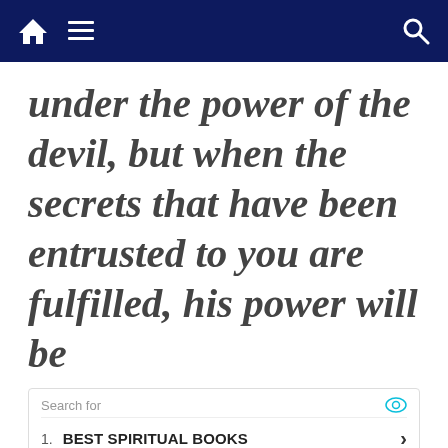Navigation bar with home, menu, and search icons
under the power of the devil, but when the secrets that have been entrusted to you are fulfilled, his power will be
Search for
1. BEST SPIRITUAL BOOKS
2. BIBLE STUDY LESSONS